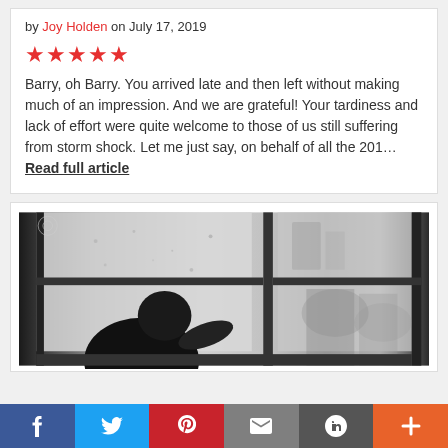by Joy Holden on July 17, 2019
★★★★★
Barry, oh Barry. You arrived late and then left without making much of an impression. And we are grateful! Your tardiness and lack of effort were quite welcome to those of us still suffering from storm shock. Let me just say, on behalf of all the 201… Read full article
[Figure (photo): Black and white photo of a child looking out a rain-covered window, silhouetted against bright window light with blurred outdoor scenery]
f  Twitter  Pinterest  Email  Link  +